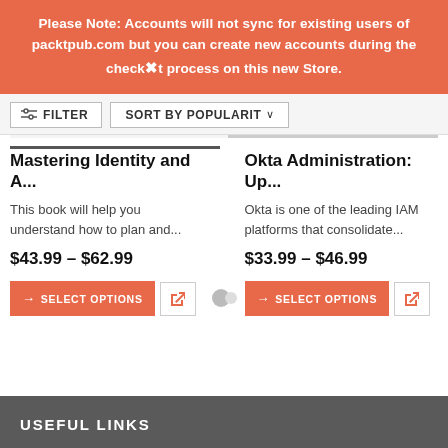Please Note: Accounts will not sync for existing users of packtpub.com but you can create new accounts during the checkout process on this new Store.
FILTER   SORT BY POPULARITY
Mastering Identity and A...
This book will help you understand how to plan and...
$43.99 – $62.99
Okta Administration: Up...
Okta is one of the leading IAM platforms that consolidate...
$33.99 – $46.99
USEFUL LINKS